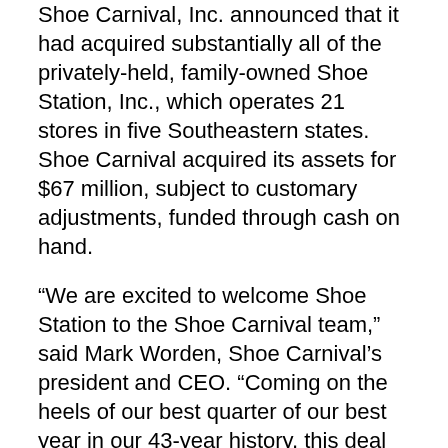Shoe Carnival, Inc. announced that it had acquired substantially all of the privately-held, family-owned Shoe Station, Inc., which operates 21 stores in five Southeastern states. Shoe Carnival acquired its assets for $67 million, subject to customary adjustments, funded through cash on hand.
“We are excited to welcome Shoe Station to the Shoe Carnival team,” said Mark Worden, Shoe Carnival’s president and CEO. “Coming on the heels of our best quarter of our best year in our 43-year history, this deal accelerates our journey toward becoming a multi-billion dollar retailer in the years ahead.”
With this acquisition, the first in its history, the company will own and operate Shoe Station’s locations across the Southeast. Adding a new brand and new retail locations to the Shoe Carnival portfolio creates a complementary retail platform to serve a broader customer base across urban and suburban demographics. Shoe Station